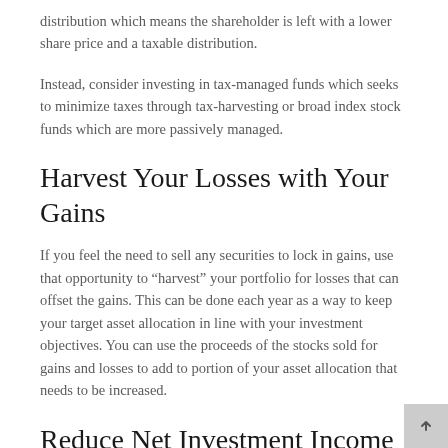distribution which means the shareholder is left with a lower share price and a taxable distribution.
Instead, consider investing in tax-managed funds which seeks to minimize taxes through tax-harvesting or broad index stock funds which are more passively managed.
Harvest Your Losses with Your Gains
If you feel the need to sell any securities to lock in gains, use that opportunity to “harvest” your portfolio for losses that can offset the gains. This can be done each year as a way to keep your target asset allocation in line with your investment objectives. You can use the proceeds of the stocks sold for gains and losses to add to portion of your asset allocation that needs to be increased.
Reduce Net Investment Income to Avoid the 3.8% Surtax